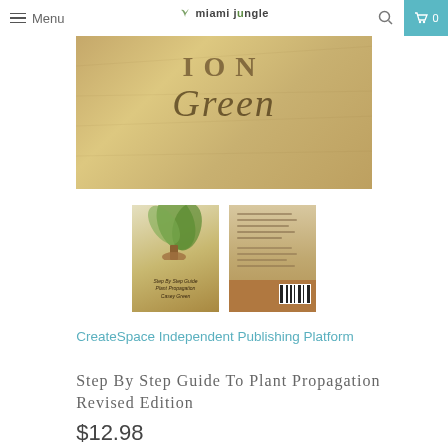Menu | miami jungle | Search | Cart 0
[Figure (photo): Close-up of a book cover showing the words 'ION' and 'Green' in stylized text on a textured beige/tan background]
[Figure (photo): Thumbnail of front cover of 'Step By Step Guide To Plant Propagation Revised Edition' by Casey Green, showing a plant in a pot]
[Figure (photo): Thumbnail of back cover of the book showing text and barcode on brown background]
CreateSpace Independent Publishing Platform
Step By Step Guide To Plant Propagation Revised Edition
$12.98